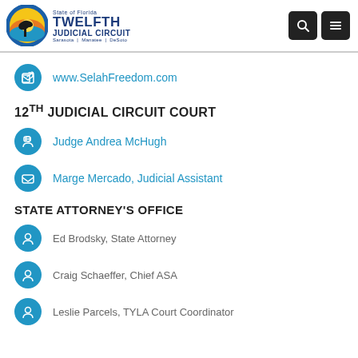State of Florida Twelfth Judicial Circuit — Sarasota / Manatee / DeSoto
www.SelahFreedom.com
12TH JUDICIAL CIRCUIT COURT
Judge Andrea McHugh
Marge Mercado, Judicial Assistant
STATE ATTORNEY'S OFFICE
Ed Brodsky, State Attorney
Craig Schaeffer, Chief ASA
Leslie Parcels, TYLA Court Coordinator